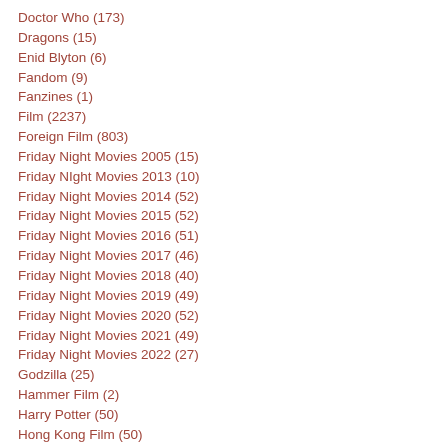Doctor Who (173)
Dragons (15)
Enid Blyton (6)
Fandom (9)
Fanzines (1)
Film (2237)
Foreign Film (803)
Friday Night Movies 2005 (15)
Friday NIght Movies 2013 (10)
Friday Night Movies 2014 (52)
Friday Night Movies 2015 (52)
Friday Night Movies 2016 (51)
Friday Night Movies 2017 (46)
Friday Night Movies 2018 (40)
Friday Night Movies 2019 (49)
Friday Night Movies 2020 (52)
Friday Night Movies 2021 (49)
Friday Night Movies 2022 (27)
Godzilla (25)
Hammer Film (2)
Harry Potter (50)
Hong Kong Film (50)
Horror Films (273)